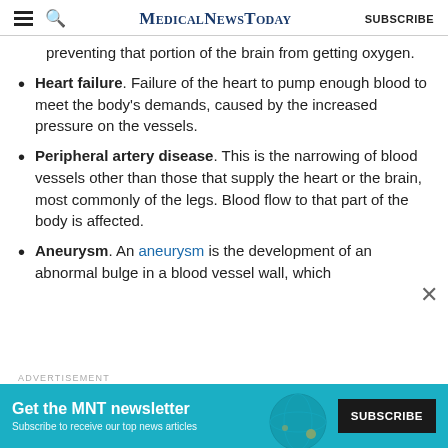MedicalNewsToday — SUBSCRIBE
preventing that portion of the brain from getting oxygen.
Heart failure. Failure of the heart to pump enough blood to meet the body's demands, caused by the increased pressure on the vessels.
Peripheral artery disease. This is the narrowing of blood vessels other than those that supply the heart or the brain, most commonly of the legs. Blood flow to that part of the body is affected.
Aneurysm. An aneurysm is the development of an abnormal bulge in a blood vessel wall, which
[Figure (infographic): Advertisement banner for MNT newsletter with teal background, subscribe button, and globe graphic. Text: Get the MNT newsletter. Subscribe to receive our top news articles. SUBSCRIBE button.]